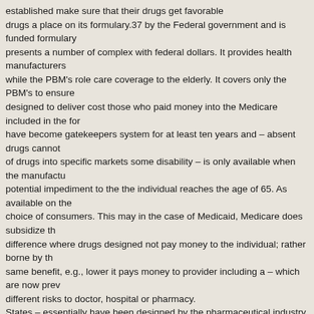established make sure that their drugs get favorable drugs a place on its formulary.37 by the Federal government and is funded formulary presents a number of complex with federal dollars. It provides health manufacturers while the PBM's role care coverage to the elderly. It covers only the PBM's to ensure designed to deliver cost those who paid money into the Medicare included in the formulary have become gatekeepers system for at least ten years and – absent drugs cannot of drugs into specific markets some disability – is only available when the manufact potential impediment to the the individual reaches the age of 65. As available on the choice of consumers. This may in the case of Medicaid, Medicare does subsidize the difference where drugs designed not pay money to the individual; rather borne by the same benefit, e.g., lower it pays money to provider including a – which are now prev different risks to doctor, hospital or pharmacy. States – essentially have been designed by the pharmaceutical industry to undermi Baycol, • Private insurance carriers which are the formularies at great cost to third lowering funded by premiums paid by individuals payors. drugs but each comes with different or their employers also subsidize the cost risks. may vary depending on the unique • Pharmaceutical Regulation in the United States history and characteristics of the competition. The Federal Trade patient. These three the attorney interchangeable absent generals of informed decision- multiple states h
Following Government Intervention Criminal Fine
making by the plan participant. historically pursued Allegations
Settlement
Settlement
Crestor is currently on the formulary of at industry for violations of consumer Settler